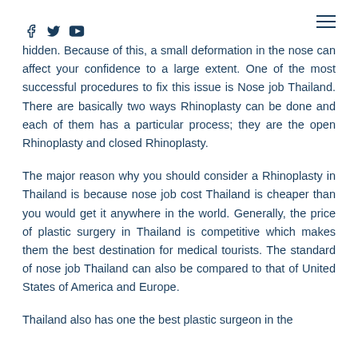Social icons: Facebook, Twitter, YouTube; Hamburger menu
hidden. Because of this, a small deformation in the nose can affect your confidence to a large extent. One of the most successful procedures to fix this issue is Nose job Thailand. There are basically two ways Rhinoplasty can be done and each of them has a particular process; they are the open Rhinoplasty and closed Rhinoplasty.
The major reason why you should consider a Rhinoplasty in Thailand is because nose job cost Thailand is cheaper than you would get it anywhere in the world. Generally, the price of plastic surgery in Thailand is competitive which makes them the best destination for medical tourists. The standard of nose job Thailand can also be compared to that of United States of America and Europe.
Thailand also has one the best plastic surgeon in the